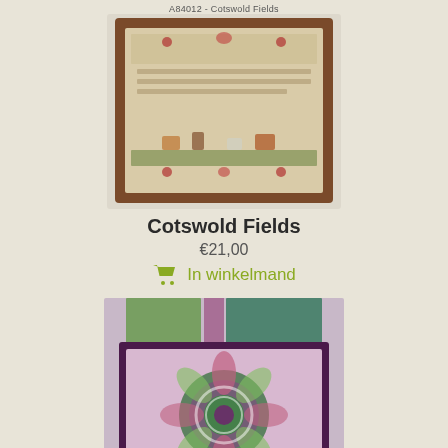A84012 - Cotswold Fields
[Figure (photo): Cross stitch embroidery sampler in a dark wooden frame, featuring animals, florals, and text on a natural linen background. Product image for Cotswold Fields.]
Cotswold Fields
€21,00
In winkelmand
[Figure (photo): Cross stitch embroidery pattern showing a symmetrical mandala-like design with greens, purples and pinks on a marbled background. Product image for Bubbles RYO.]
Bubbles RYO